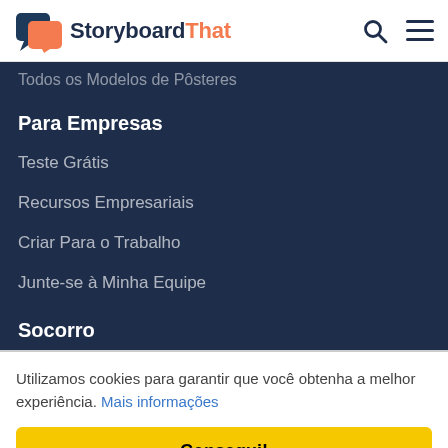StoryboardThat
Todos os Modelos de Pôsteres
Para Empresas
Teste Grátis
Recursos Empresariais
Criar Para o Trabalho
Junte-se à Minha Equipe
Socorro
Utilizamos cookies para garantir que você obtenha a melhor experiência. Mais informações
Consegui!
Sobre